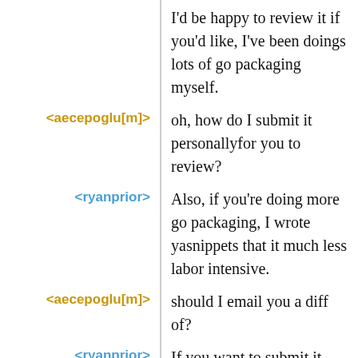I'd be happy to review it if you'd like, I've been doings lots of go packaging myself.
<aecepoglu[m]> oh, how do I submit it personallyfor you to review?
<ryanprior> Also, if you're doing more go packaging, I wrote yasnippets that it much less labor intensive.
<aecepoglu[m]> should I email you a diff of?
<ryanprior> If you want to submit it privately, you can email